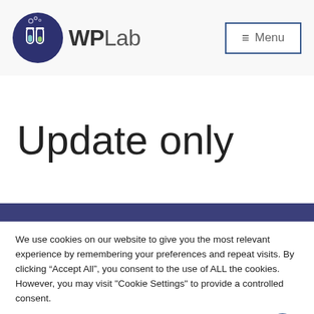[Figure (logo): WPLab logo: dark blue circle with test tubes and bubbles icon, followed by 'WPLab' text in gray with 'WP' bold]
[Figure (other): Menu button with hamburger icon and 'Menu' text, bordered in dark blue]
Update only
We use cookies on our website to give you the most relevant experience by remembering your preferences and repeat visits. By clicking “Accept All”, you consent to the use of ALL the cookies. However, you may visit "Cookie Settings" to provide a controlled consent.
[Figure (other): Two buttons: 'Cookie Settings' (gray) and 'Accept All' (green), with a dark blue circular chat bubble icon on the right]